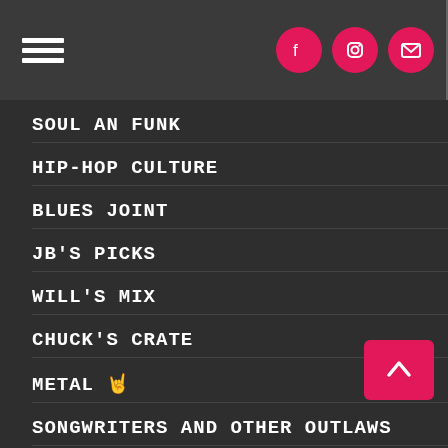Navigation menu with hamburger icon and social icons (Facebook, Instagram, Email)
SOUL AN FUNK
HIP-HOP CULTURE
BLUES JOINT
JB'S PICKS
WILL'S MIX
CHUCK'S CRATE
METAL 🤘
SONGWRITERS AND OTHER OUTLAWS
RECORDS FROM 1969
OLD RECORD STORE DAY AT HORIZON RECORDS